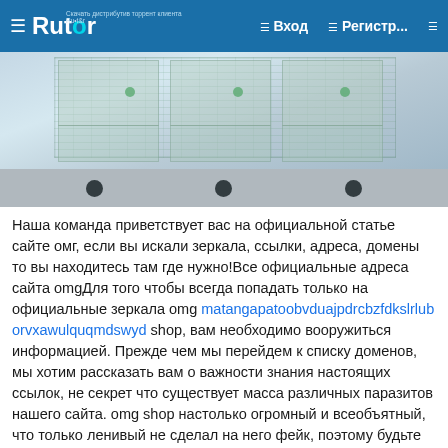Rutor — Вход — Регистр...
[Figure (photo): Photo of printed banknotes (Russian rubles) on a printing or flat surface, with a grey bottom bar containing three black circular holes.]
Наша команда приветствует вас на официальной статье сайте омг, если вы искали зеркала, ссылки, адреса, домены то вы находитесь там где нужно!Все официальные адреса сайта omgДля того чтобы всегда попадать только на официальные зеркала omg matangapatoobvduajpdrcbzfdkslrluborvxawulquqmdswyd shop, вам необходимо вооружиться информацией. Прежде чем мы перейдем к списку доменов, мы хотим рассказать вам о важности знания настоящих ссылок, не секрет что существует масса различных паразитов нашего сайта. omg shop настолько огромный и всеобъятный, что только ленивый не сделал на него фейк, поэтому будьте осторожны и всегда перепроверяйте адреса по которым вы переходите,